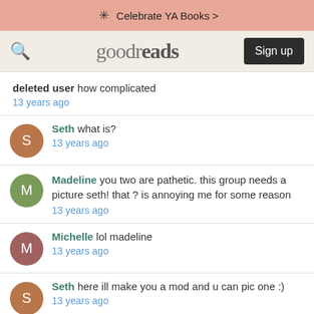Celebrate YA Books >
[Figure (screenshot): Goodreads navigation bar with search icon, goodreads logo, and Sign up button]
deleted user how complicated
13 years ago
Seth what is?
13 years ago
Madeline you two are pathetic. this group needs a picture seth! that ? is annoying me for some reason
13 years ago
Michelle lol madeline
13 years ago
Seth here ill make you a mod and u can pic one :)
13 years ago